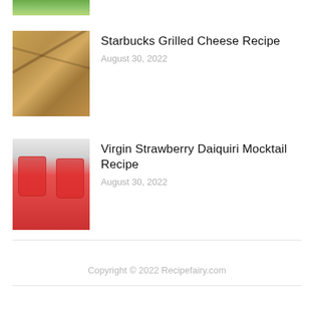[Figure (photo): Partial top image of a green leafy salad dish, cropped at top of page]
[Figure (photo): Thumbnail image of Starbucks Grilled Cheese sandwich, golden-brown toasted bread]
Starbucks Grilled Cheese Recipe
August 30, 2022
[Figure (photo): Thumbnail image of two Virgin Strawberry Daiquiri Mocktails in glasses with lime garnish and strawberry]
Virgin Strawberry Daiquiri Mocktail Recipe
August 30, 2022
Copyright © 2022 Recipefairy.com